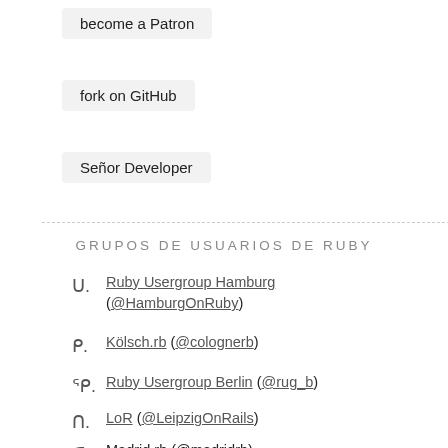become a Patron
fork on GitHub
Señor Developer
GRUPOS DE USUARIOS DE RUBY
Ruby Usergroup Hamburg (@HamburgOnRuby)
Kölsch.rb (@colognerb)
Ruby Usergroup Berlin (@rug_b)
LoR (@LeipzigOnRails)
Madrid.rb (@madridrb)